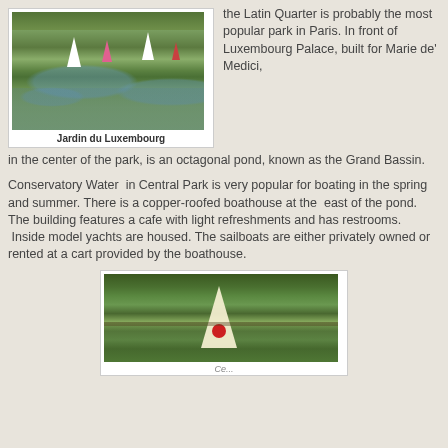[Figure (photo): Photo of Jardin du Luxembourg pond with model sailboats on the water, surrounded by trees]
Jardin du Luxembourg
the Latin Quarter is probably the most popular park in Paris. In front of Luxembourg Palace, built for Marie de' Medici, in the center of the park, is an octagonal pond, known as the Grand Bassin.
Conservatory Water  in Central Park is very popular for boating in the spring and summer. There is a copper-roofed boathouse at the  east of the pond. The building features a cafe with light refreshments and has restrooms.  Inside model yachts are housed. The sailboats are either privately owned or rented at a cart provided by the boathouse.
[Figure (photo): Photo of a model sailboat on Conservatory Water in Central Park, with reflections of trees in the water]